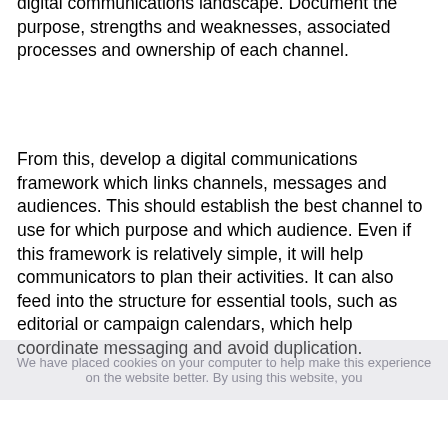Next map out the channels within your digital communications landscape. Document the purpose, strengths and weaknesses, associated processes and ownership of each channel.
From this, develop a digital communications framework which links channels, messages and audiences. This should establish the best channel to use for which purpose and which audience. Even if this framework is relatively simple, it will help communicators to plan their activities. It can also feed into the structure for essential tools, such as editorial or campaign calendars, which help coordinate messaging and avoid duplication.